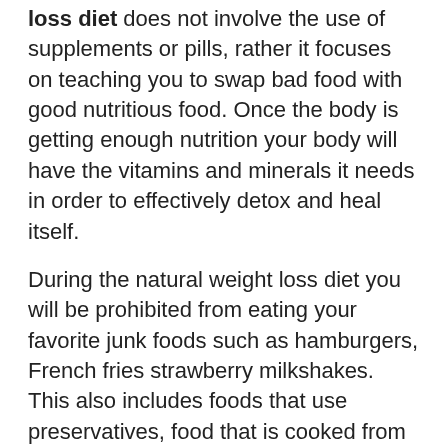loss diet does not involve the use of supplements or pills, rather it focuses on teaching you to swap bad food with good nutritious food. Once the body is getting enough nutrition your body will have the vitamins and minerals it needs in order to effectively detox and heal itself.
During the natural weight loss diet you will be prohibited from eating your favorite junk foods such as hamburgers, French fries strawberry milkshakes. This also includes foods that use preservatives, food that is cooked from hydrogenated vegetable oils and food containing refined sugar. What is recommended for a natural weight loss diet is healthy and nutritious foods that are high in fiber and protein. Vegetables, fruits and organic grass-fed meat are good examples of healthy foods.
Let's have a look at some of this 'good food'. A natural diet is centered around meats, fruits and vegetables. Acidic foods like...